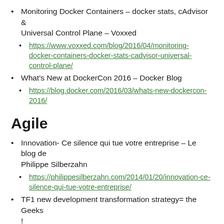Monitoring Docker Containers – docker stats, cAdvisor & Universal Control Plane – Voxxed
https://www.voxxed.com/blog/2016/04/monitoring-docker-containers-docker-stats-cadvisor-universal-control-plane/
What's New at DockerCon 2016 – Docker Blog
https://blog.docker.com/2016/03/whats-new-dockercon-2016/
Agile
Innovation- Ce silence qui tue votre entreprise – Le blog de Philippe Silberzahn
https://philippesilberzahn.com/2014/01/20/innovation-ce-silence-qui-tue-votre-entreprise/
TF1 new development transformation strategy= the Geeks !
http://www.petitweb.fr/actualites/pourquoi-tf1-drague-